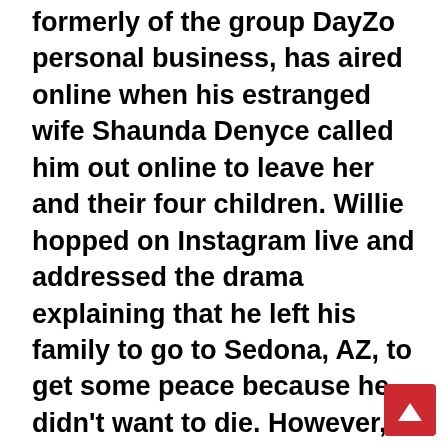formerly of the group DayZo personal business, has aired online when his estranged wife Shaunda Denyce called him out online to leave her and their four children. Willie hopped on Instagram live and addressed the drama explaining that he left his family to go to Sedona, AZ, to get some peace because he didn't want to die. However, after all the turmoil, it looks like all is well between the two.
Today Shanda cleared the air and issued a public apology on Instagram. The former reality TV star and mother shared a photo of her and Willie sitting next to each other, smiling. She captioned the post, "Drinks on me. Meet me at the Bizar… How I say, sorry for putting silly people in my business chats